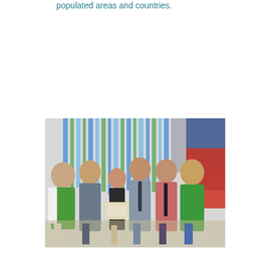populated areas and countries.
[Figure (photo): Group photo of six young men standing together in front of colorful blue and green streamers. The person in the center is holding a certificate/award. Two of the men on the left and right ends are wearing green t-shirts, while others wear dress shirts. One person in the middle wears a pink shirt with a dark tie.]